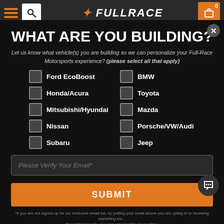Full-Race Motorsports website header
WHAT ARE YOU BUILDING?
Let us know what vehicle(s) you are building so we can personalize your Full-Race Motorsports experience? (please select all that apply)
Ford EcoBoost
BMW
Honda/Acura
Toyota
Mitsubishi/Hyundai
Mazda
Nissan
Porsche/VW/Audi
Subaru
Jeep
Please Verify Your Email*
SUBMIT
*If you are not signed up for our exclusive email list, by putting your email above you are opting in to receiving marketing email from Full-Race Motorsports. You can unsubscribe at any time.
SUBSCRIBE